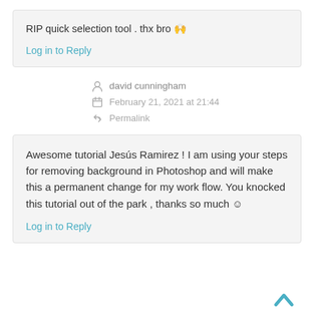RIP quick selection tool . thx bro 🙌
Log in to Reply
david cunningham
February 21, 2021 at 21:44
Permalink
Awesome tutorial Jesús Ramirez ! I am using your steps for removing background in Photoshop and will make this a permanent change for my work flow. You knocked this tutorial out of the park , thanks so much ☺
Log in to Reply